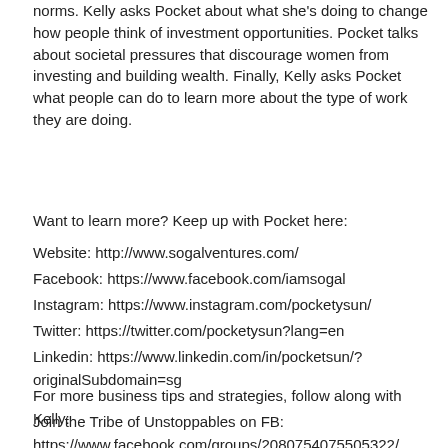norms. Kelly asks Pocket about what she's doing to change how people think of investment opportunities. Pocket talks about societal pressures that discourage women from investing and building wealth. Finally, Kelly asks Pocket what people can do to learn more about the type of work they are doing.
Want to learn more? Keep up with Pocket here:
Website: http://www.sogalventures.com/
Facebook: https://www.facebook.com/iamsogal
Instagram: https://www.instagram.com/pocketysun/
Twitter: https://twitter.com/pocketysun?lang=en
Linkedin: https://www.linkedin.com/in/pocketsun/?originalSubdomain=sg
For more business tips and strategies, follow along with Kelly:
Join the Tribe of Unstoppables on FB:
https://www.facebook.com/groups/2080754075505322/